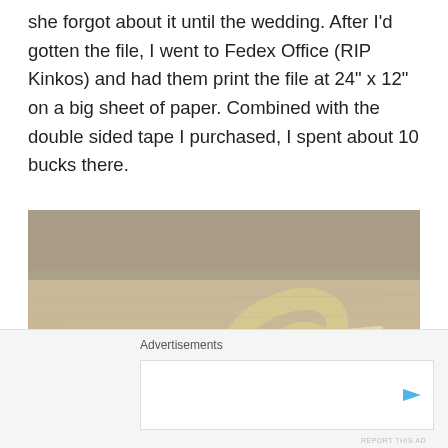she forgot about it until the wedding. After I'd gotten the file, I went to Fedex Office (RIP Kinkos) and had them print the file at 24" x 12" on a big sheet of paper. Combined with the double sided tape I purchased, I spent about 10 bucks there.
[Figure (photo): A wooden CNC-cut decorative letter or shape piece lying on a flat light wood surface, photographed from an angle.]
Advertisements
[Figure (other): Advertisement banner area with a play button icon.]